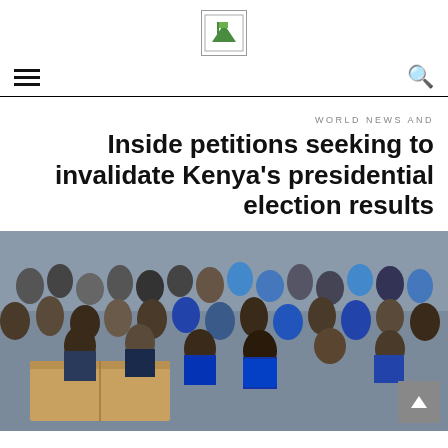[Figure (logo): News website logo — small square icon with green/white graphic]
WORLD NEWS AND
Inside petitions seeking to invalidate Kenya's presidential election results
[Figure (photo): Crowd of people at a polling or election results venue, some leaning over a cardboard box, in an indoor arena setting]